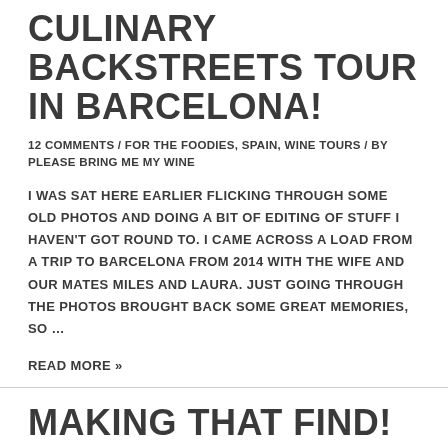CULINARY BACKSTREETS TOUR IN BARCELONA!
12 COMMENTS / FOR THE FOODIES, SPAIN, WINE TOURS / BY PLEASE BRING ME MY WINE
I WAS SAT HERE EARLIER FLICKING THROUGH SOME OLD PHOTOS AND DOING A BIT OF EDITING OF STUFF I HAVEN'T GOT ROUND TO. I CAME ACROSS A LOAD FROM A TRIP TO BARCELONA FROM 2014 WITH THE WIFE AND OUR MATES MILES AND LAURA. JUST GOING THROUGH THE PHOTOS BROUGHT BACK SOME GREAT MEMORIES, SO …
READ MORE »
MAKING THAT FIND!
3 COMMENTS / TRAVELLING, WINE INDUSTRY / BY PLEASE BRING ME MY WINE